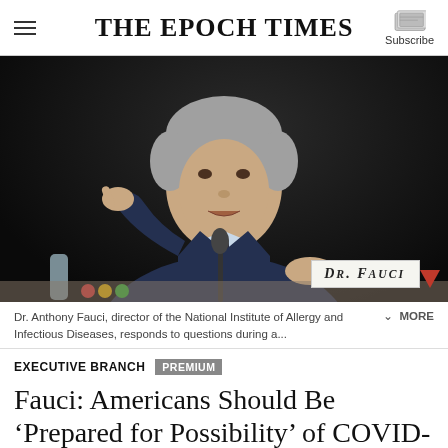THE EPOCH TIMES
[Figure (photo): Dr. Anthony Fauci seated at a hearing table, wearing a navy suit and dark tie, pointing with his right hand. A name placard reading 'Dr. Fauci' is visible in the foreground. Dark background.]
Dr. Anthony Fauci, director of the National Institute of Allergy and Infectious Diseases, responds to questions during a... MORE
EXECUTIVE BRANCH
Fauci: Americans Should Be 'Prepared for Possibility' of COVID-19 Restrictions